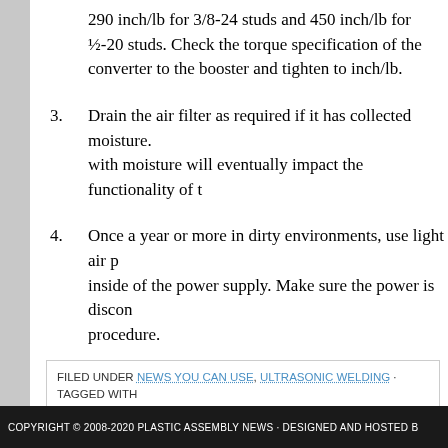290 inch/lb for 3/8-24 studs and 450 inch/lb for ½-20 studs. Check the torque specification of the converter to the booster and tighten to inch/lb.
3. Drain the air filter as required if it has collected moisture. An air filter with moisture will eventually impact the functionality of t…
4. Once a year or more in dirty environments, use light air p… inside of the power supply. Make sure the power is discon… procedure.
FILED UNDER NEWS YOU CAN USE, ULTRASONIC WELDING · TAGGED WITH BOOSTER, ULTRASONIC CONVERTER, ULTRASONIC HORN, ULTRASONIC WE…
Next Page »
COPYRIGHT © 2008-2020 PLASTIC ASSEMBLY NEWS · DESIGNED AND HOSTED B…